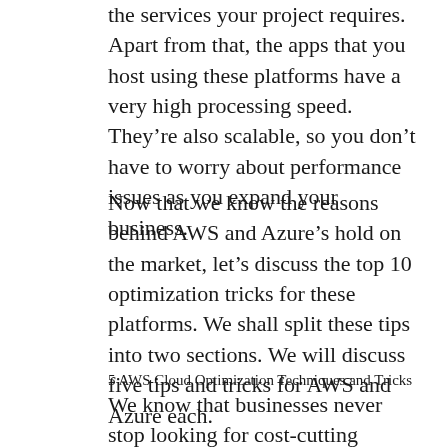the services your project requires. Apart from that, the apps that you host using these platforms have a very high processing speed. They're also scalable, so you don't have to worry about performance issues as you expand your business.
Now that we know the reasons behind AWS and Azure's hold on the market, let's discuss the top 10 optimization tricks for these platforms. We shall split these tips into two sections. We will discuss five tips and tricks for AWS and Azure each.
5 AWS Cloud Optimization Techniques and Tricks
We know that businesses never stop looking for cost-cutting solutions. A pay-as-you-go model like AWS certainly does the trick. Moreover, the high flexibility and scalability of AWS make it a leading platform for on-